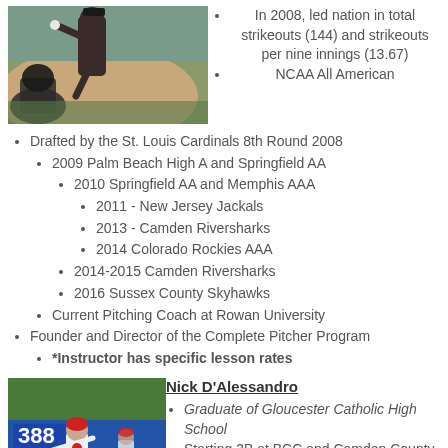[Figure (photo): Baseball pitcher in action on a field, wearing a uniform, mid-pitch motion]
In 2008, led nation in total strikeouts (144) and strikeouts per nine innings (13.67)
NCAA All American
Drafted by the St. Louis Cardinals 8th Round 2008
2009 Palm Beach High A and Springfield AA
2010 Springfield AA and Memphis AAA
2011 - New Jersey Jackals
2013 - Camden Riversharks
2014 Colorado Rockies AAA
2014-2015 Camden Riversharks
2016 Sussex County Skyhawks
Current Pitching Coach at Rowan University
Founder and Director of the Complete Pitcher Program
*Instructor has specific lesson rates
[Figure (photo): Baseball player wearing number 388 running on a field, another player visible in background]
Nick D'Alessandro
Graduate of Gloucester Catholic High School
Starting 3B at BCC and Camden County College